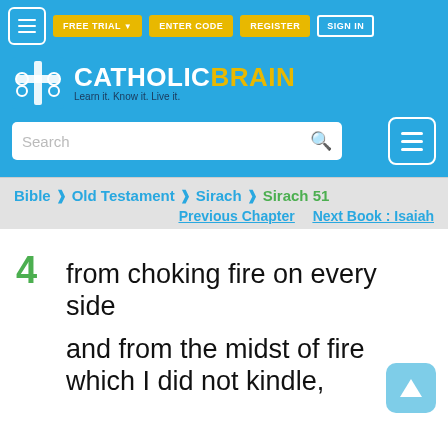CatholicBrain - Learn it. Know it. Live it. | FREE TRIAL | ENTER CODE | REGISTER | SIGN IN
Bible > Old Testament > Sirach > Sirach 51
Previous Chapter   Next Book : Isaiah
4   from choking fire on every side
and from the midst of fire which I did not kindle,